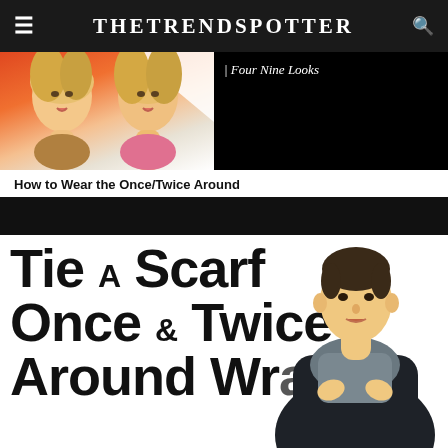The Trend Spotter
[Figure (photo): Two blonde women making poses against a colorful background, partial view of a fashion article about 'Four Nine Looks']
| Four Nine Looks
How to Wear the Once/Twice Around
[Figure (screenshot): Black bar (video player controls area)]
[Figure (photo): Thumbnail image showing text 'Tie A Scarf Once & Twice Around Wraps' in large bold type with a man wearing a navy scarf on the right side]